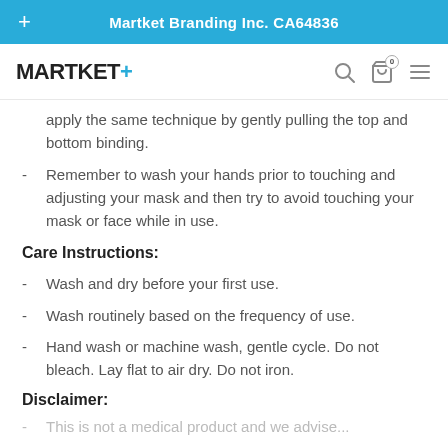Martket Branding Inc. CA64836
[Figure (logo): MARTKET+ logo with navigation icons (search, cart, menu)]
apply the same technique by gently pulling the top and bottom binding.
Remember to wash your hands prior to touching and adjusting your mask and then try to avoid touching your mask or face while in use.
Care Instructions:
Wash and dry before your first use.
Wash routinely based on the frequency of use.
Hand wash or machine wash, gentle cycle. Do not bleach. Lay flat to air dry. Do not iron.
Disclaimer:
This is not a medical product and we advise...